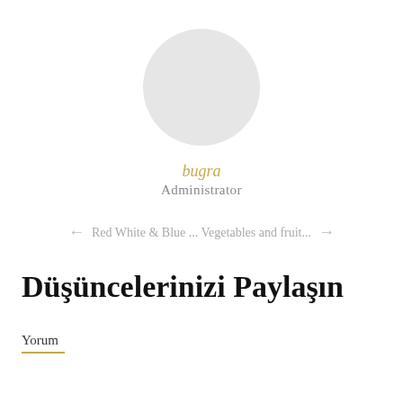[Figure (illustration): A circular gray avatar/profile picture placeholder centered near the top of the page]
bugra
Administrator
← Red White & Blue ... Vegetables and fruit... →
Düşüncelerinizi Paylaşın
Yorum